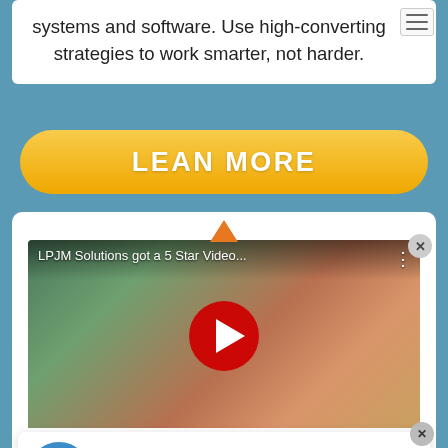systems and software. Use high-converting strategies to work smarter, not harder.
LEAN MORE
[Figure (screenshot): YouTube video thumbnail showing a woman with blonde hair in front of colorful paintings, with title 'LPJM Solutions got a 5 Star Video...' and a red play button]
Rob H. ★★★★★ VERIFIED
Hi, I wanted to write this review to express my thanks to Michael from Joint Market Solutions for taking... More
more customers without spending more